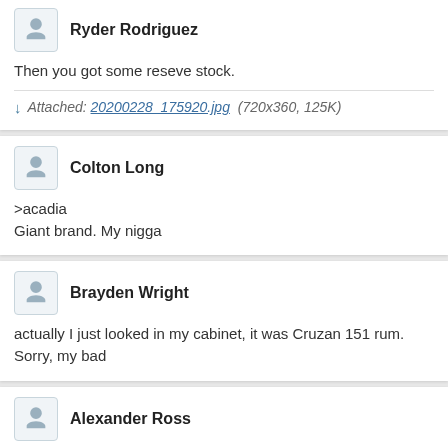Ryder Rodriguez
Then you got some reseve stock.
Attached: 20200228_175920.jpg (720x360, 125K)
Colton Long
>acadia
Giant brand. My nigga
Brayden Wright
actually I just looked in my cabinet, it was Cruzan 151 rum. Sorry, my bad
Alexander Ross
alternating between Cutty & Soda and Kicken Chicken Old fashions